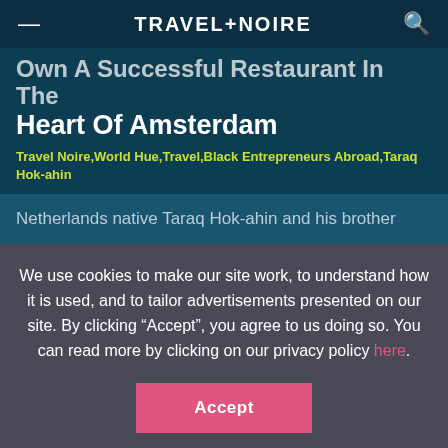TRAVEL+NOIRE
Own A Successful Restaurant In The Heart Of Amsterdam
Travel Noire,World Hue,Travel,Black Entrepreneurs Abroad,Taraq Hok-ahin
Netherlands native Taraq Hok-ahin and his brother
We use cookies to make our site work, to understand how it is used, and to tailor advertisements presented on our site. By clicking “Accept”, you agree to us doing so. You can read more by clicking on our privacy policy here.
Accept